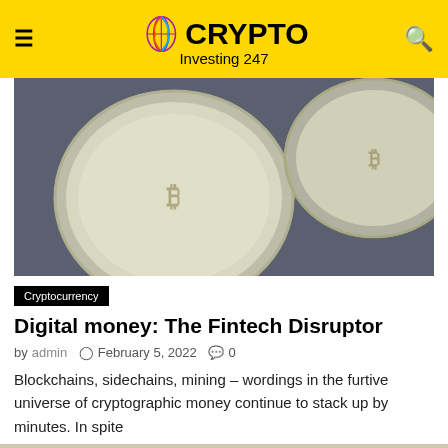Crypto Investing 247
[Figure (photo): Close-up photo of silver Bitcoin coins on a dark circuit board background]
Cryptocurrency
Digital money: The Fintech Disruptor
by admin  February 5, 2022  0
Blockchains, sidechains, mining – wordings in the furtive universe of cryptographic money continue to stack up by minutes. In spite
[Figure (photo): Photo of gold cryptocurrency coins partially visible at bottom of page]